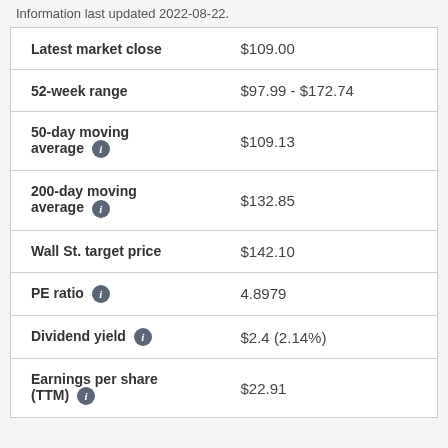Information last updated 2022-08-22.
| Metric | Value |
| --- | --- |
| Latest market close | $109.00 |
| 52-week range | $97.99 - $172.74 |
| 50-day moving average | $109.13 |
| 200-day moving average | $132.85 |
| Wall St. target price | $142.10 |
| PE ratio | 4.8979 |
| Dividend yield | $2.4 (2.14%) |
| Earnings per share (TTM) | $22.91 |